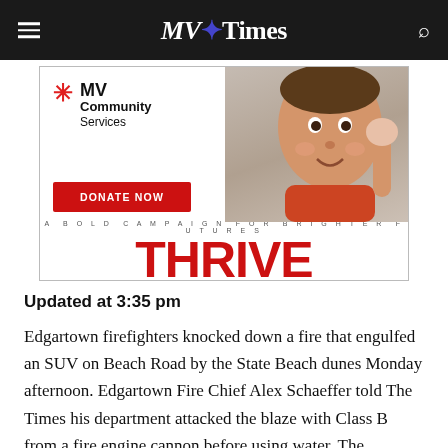MV Times
[Figure (photo): MV Community Services advertisement with a baby/toddler photo, DONATE NOW button, and THRIVE campaign text. Tagline: A BOLD CAMPAIGN FOR BRIGHTER FUTURES]
Updated at 3:35 pm
Edgartown firefighters knocked down a fire that engulfed an SUV on Beach Road by the State Beach dunes Monday afternoon. Edgartown Fire Chief Alex Schaeffer told The Times his department attacked the blaze with Class B from a fire engine cannon before using water. The roadway was closed in both directions